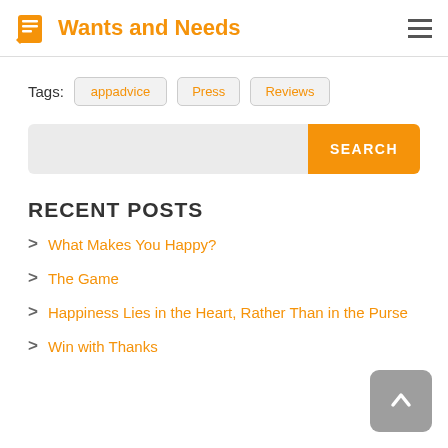Wants and Needs
Tags: appadvice Press Reviews
[Figure (screenshot): Search bar with orange SEARCH button]
RECENT POSTS
What Makes You Happy?
The Game
Happiness Lies in the Heart, Rather Than in the Purse
Win with Thanks